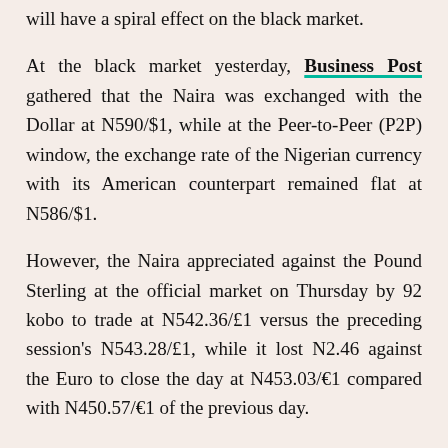will have a spiral effect on the black market.
At the black market yesterday, Business Post gathered that the Naira was exchanged with the Dollar at N590/$1, while at the Peer-to-Peer (P2P) window, the exchange rate of the Nigerian currency with its American counterpart remained flat at N586/$1.
However, the Naira appreciated against the Pound Sterling at the official market on Thursday by 92 kobo to trade at N542.36/£1 versus the preceding session's N543.28/£1, while it lost N2.46 against the Euro to close the day at N453.03/€1 compared with N450.57/€1 of the previous day.
Meanwhile, cryptocurrency assets were largely confined to the bearish territory on Thursday with all of the 10 benchmarked coins by Business Post recording losses as US Federal Reserves move to cushion against inflation.